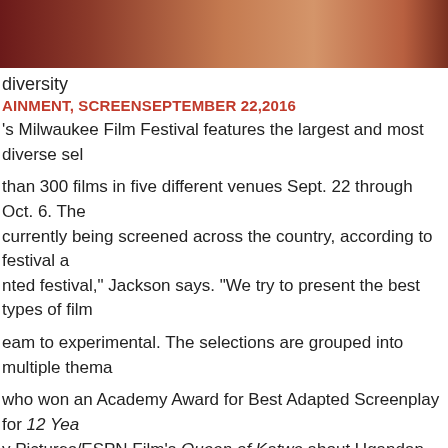[Figure (photo): Cropped photo strip at the top of the page showing warm reddish-brown tones, likely a person's face or hands]
diversity
AINMENT, SCREEN SEPTEMBER 22,2016
's Milwaukee Film Festival features the largest and most diverse sel
than 300 films in five different venues Sept. 22 through Oct. 6. The currently being screened across the country, according to festival a nted festival," Jackson says. "We try to present the best types of film
eam to experimental. The selections are grouped into multiple thema
who won an Academy Award for Best Adapted Screenplay for 12 Yea y Pictures/ESPN Film's Queen of Katwe about Ugandan chess proc films from throughout Wisconsin. The category attracted some 246
unity," says Cara Ogburn, MFF's programming and education manag
y an aggregate screening committee of some 50 people, led by lead